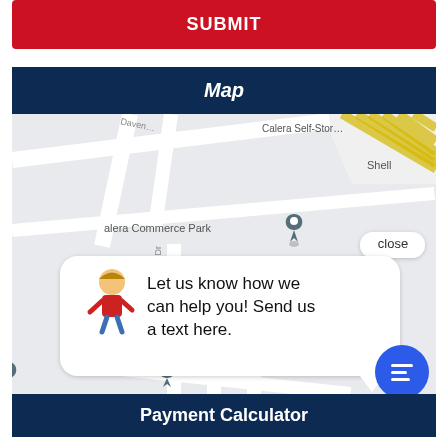SUBMIT
Map
[Figure (map): Google-style map showing Calera Commerce Park area with street labels (Daventry, Oak Leaf Ln), location pins, Calera Self-Storage, Shell station, and a chat popup overlay reading 'Let us know how we can help you! Send us a text here.']
Payment Calculator